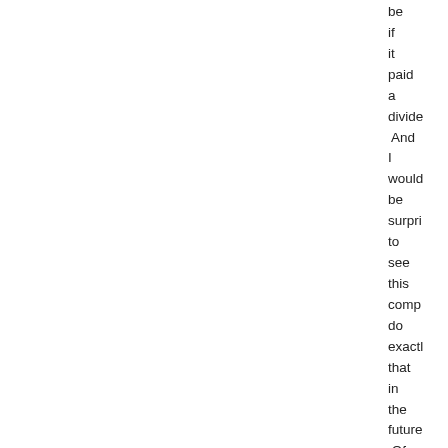be if it paid a divide. And I would be surpri to see this comp do exactl that in the future. Of cours, I don't have any inside